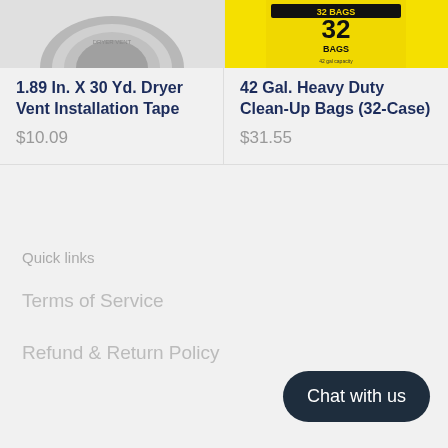[Figure (photo): Partial top image of a dryer vent installation tape roll (grey/silver tape roll, cropped)]
[Figure (photo): Partial top image of a 42 Gal. Heavy Duty Clean-Up Bags box with yellow packaging showing 32 BAGS label]
1.89 In. X 30 Yd. Dryer Vent Installation Tape
$10.09
42 Gal. Heavy Duty Clean-Up Bags (32-Case)
$31.55
Quick links
Terms of Service
Refund & Return Policy
Chat with us